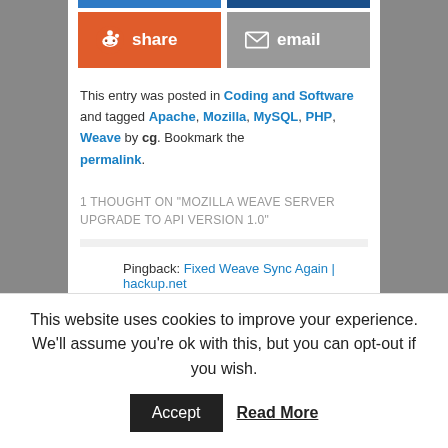[Figure (other): Reddit share button (orange) and email share button (grey)]
This entry was posted in Coding and Software and tagged Apache, Mozilla, MySQL, PHP, Weave by cg. Bookmark the permalink.
1 THOUGHT ON "MOZILLA WEAVE SERVER UPGRADE TO API VERSION 1.0"
Pingback: Fixed Weave Sync Again | hackup.net
Leave a Reply
Your email address will not be published. Required
This website uses cookies to improve your experience. We'll assume you're ok with this, but you can opt-out if you wish.